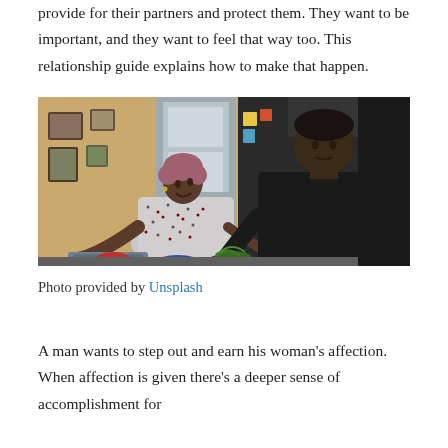provide for their partners and protect them. They want to be important, and they want to feel that way too. This relationship guide explains how to make that happen.
[Figure (photo): A couple in a kitchen; a woman with short pinkish hair wearing a patterned blouse smiles upward while a man in a black long-sleeve shirt works at the counter.]
Photo provided by Unsplash
A man wants to step out and earn his woman's affection. When affection is given there's a deeper sense of accomplishment for